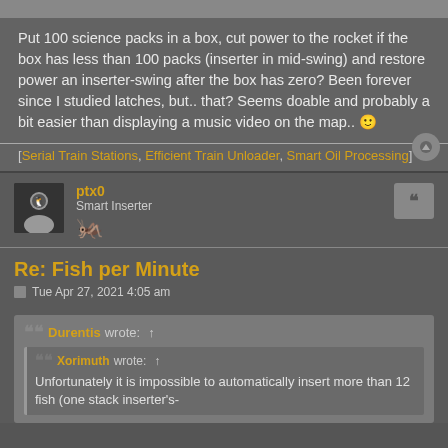Put 100 science packs in a box, cut power to the rocket if the box has less than 100 packs (inserter in mid-swing) and restore power an inserter-swing after the box has zero? Been forever since I studied latches, but.. that? Seems doable and probably a bit easier than displaying a music video on the map.. 🙂
[Serial Train Stations, Efficient Train Unloader, Smart Oil Processing]
ptx0
Smart Inserter
Re: Fish per Minute
Tue Apr 27, 2021 4:05 am
Durentis wrote: ↑
Xorimuth wrote: ↑
Unfortunately it is impossible to automatically insert more than 12 fish (one stack inserter's-